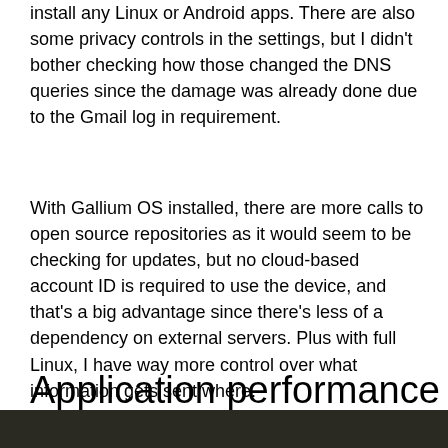install any Linux or Android apps. There are also some privacy controls in the settings, but I didn't bother checking how those changed the DNS queries since the damage was already done due to the Gmail log in requirement.
With Gallium OS installed, there are more calls to open source repositories as it would seem to be checking for updates, but no cloud-based account ID is required to use the device, and that’s a big advantage since there’s less of a dependency on external servers. Plus with full Linux, I have way more control over what information gets sent where.
Application performance
[Figure (photo): Dark photograph strip visible at the bottom of the page, showing what appears to be a device or laptop screen in low light.]